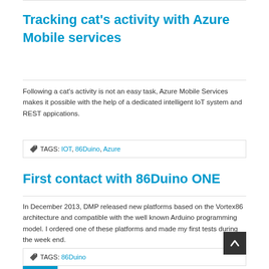Tracking cat's activity with Azure Mobile services
Following a cat's activity is not an easy task, Azure Mobile Services makes it possible with the help of a dedicated intelligent IoT system and REST appications.
TAGS: IOT, 86Duino, Azure
First contact with 86Duino ONE
In December 2013, DMP released new platforms based on the Vortex86 architecture and compatible with the well known Arduino programming model. I ordered one of these platforms and made my first tests during the week end.
TAGS: 86Duino